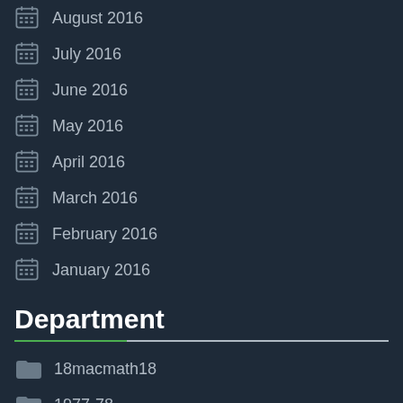August 2016
July 2016
June 2016
May 2016
April 2016
March 2016
February 2016
January 2016
Department
18macmath18
1977-78
1980s
1995-1996
1998-99
2004-2005